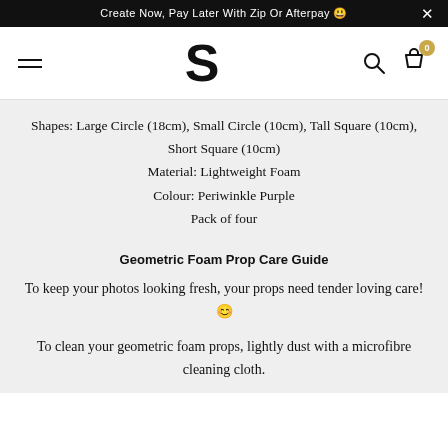Create Now, Pay Later With Zip Or Afterpay 🙂
[Figure (logo): Website navigation bar with hamburger menu, S logo, search icon, and cart icon with badge showing 0]
Shapes: Large Circle (18cm), Small Circle (10cm), Tall Square (10cm), Short Square (10cm)
Material: Lightweight Foam
Colour: Periwinkle Purple
Pack of four
Geometric Foam Prop Care Guide
To keep your photos looking fresh, your props need tender loving care! 🙂
To clean your geometric foam props, lightly dust with a microfibre cleaning cloth.